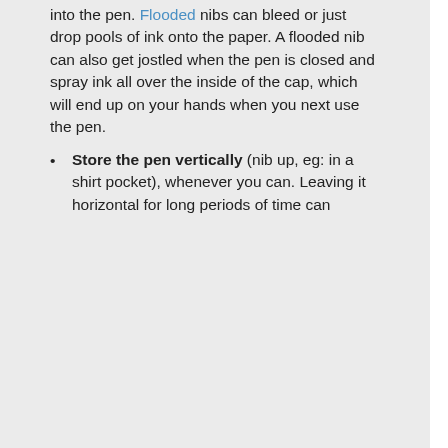into the pen. Flooded nibs can bleed or just drop pools of ink onto the paper. A flooded nib can also get jostled when the pen is closed and spray ink all over the inside of the cap, which will end up on your hands when you next use the pen.
Store the pen vertically (nib up, eg: in a shirt pocket), whenever you can. Leaving it horizontal for long periods of time can